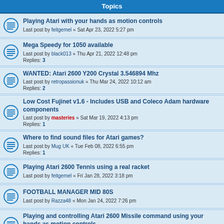Topics
Playing Atari with your hands as motion controls
Last post by feitgemel « Sat Apr 23, 2022 5:27 pm
Mega Speedy for 1050 available
Last post by black013 « Thu Apr 21, 2022 12:48 pm
Replies: 3
WANTED: Atari 2600 Y200 Crystal 3.546894 Mhz
Last post by retropassionuk « Thu Mar 24, 2022 10:12 am
Replies: 2
Low Cost Fujinet v1.6 - Includes USB and Coleco Adam hardware components
Last post by masteries « Sat Mar 19, 2022 4:13 pm
Replies: 1
Where to find sound files for Atari games?
Last post by Mug UK « Tue Feb 08, 2022 6:55 pm
Replies: 1
Playing Atari 2600 Tennis using a real racket
Last post by feitgemel « Fri Jan 28, 2022 3:18 pm
FOOTBALL MANAGER MID 80S
Last post by Razza48 « Mon Jan 24, 2022 7:26 pm
Playing and controlling Atari 2600 Missile command using your hands as motion controls
Last post by feitgemel « Sat Jan 01, 2022 4:59 pm